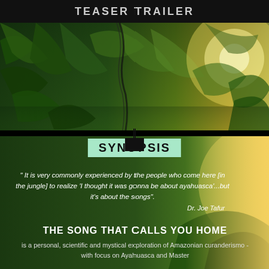TEASER TRAILER
[Figure (photo): Jungle scene with tropical foliage, palm trees, and bright sunlight filtering through leaves on the right side]
SYNOPSIS
" It is very commonly experienced by the people who come here [in the jungle] to realize 'I thought it was gonna be about ayahuasca'...but it's about the songs". Dr. Joe Tafur
THE SONG THAT CALLS YOU HOME
is a personal, scientific and mystical exploration of Amazonian curanderismo - with focus on Ayahuasca and Master